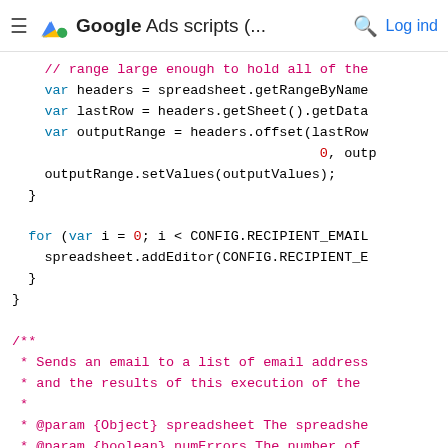Google Ads scripts (... Log ind
// range large enough to hold all of the
    var headers = spreadsheet.getRangeByName
    var lastRow = headers.getSheet().getData
    var outputRange = headers.offset(lastRow
                                      0, outp
    outputRange.setValues(outputValues);
  }

  for (var i = 0; i < CONFIG.RECIPIENT_EMAIL
    spreadsheet.addEditor(CONFIG.RECIPIENT_E
  }
}

/**
 * Sends an email to a list of email address
 * and the results of this execution of the
 *
 * @param {Object} spreadsheet The spreadshe
 * @param {boolean} numErrors The number of
 */